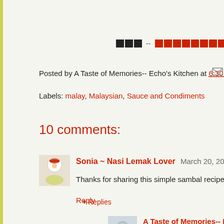[Figure (other): Redacted navigation bar with black and red blocked-out text elements]
Posted by A Taste of Memories-- Echo's Kitchen at 6:30 PM
Labels: malay, Malaysian, Sauce and Condiments
10 comments:
Sonia ~ Nasi Lemak Lover March 20, 2012 at 6:32 AM
Thanks for sharing this simple sambal recipe, dont need to
Reply
▾ Replies
A Taste of Memories-- Echo's Kitchen March 21
yeah□□□good substitute though....